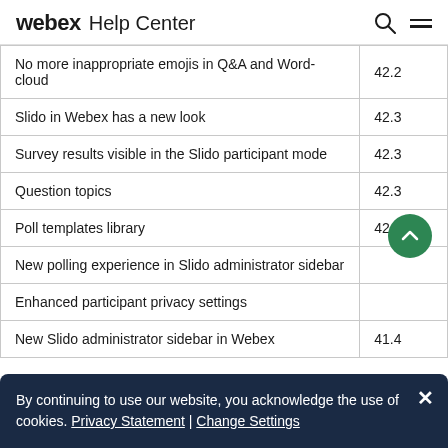webex Help Center
|  |  |
| --- | --- |
| No more inappropriate emojis in Q&A and Word-cloud | 42.2 |
| Slido in Webex has a new look | 42.3 |
| Survey results visible in the Slido participant mode | 42.3 |
| Question topics | 42.3 |
| Poll templates library | 42.3 |
| New polling experience in Slido administrator sidebar | 42.x |
| Enhanced participant privacy settings | 42.x |
| New Slido administrator sidebar in Webex | 41.4 |
By continuing to use our website, you acknowledge the use of cookies. Privacy Statement | Change Settings